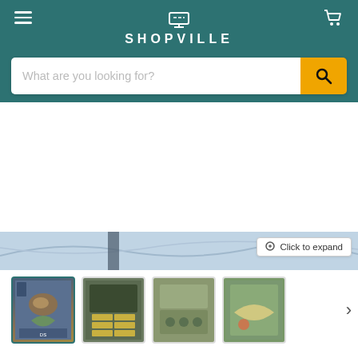SHOPVILLE
What are you looking for?
Get 10% off your order! Create an account – we'll email you a code for 10% off
[Figure (screenshot): Partial game map image with Click to expand button]
[Figure (photo): Four thumbnail images of Final Fantasy: The 4 Heroes of Light Nintendo DS game]
Final Fantasy: The 4 Heroes of Light [Nintendo DS DSi]
by Square Enix